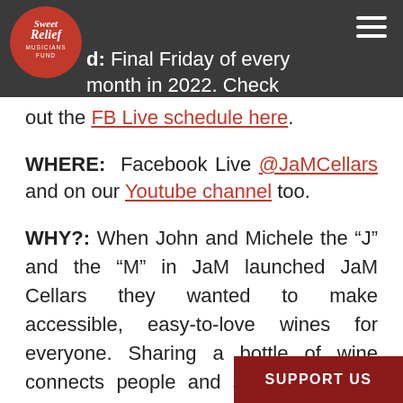Final Friday of every month in 2022. Check out the FB Live schedule here.
WHERE: Facebook Live @JaMCellars and on our Youtube channel too.
WHY?: When John and Michele the “J” and the “M” in JaM launched JaM Cellars they wanted to make accessible, easy-to-love wines for everyone. Sharing a bottle of wine connects people and so does music. Music has been a big part of our DNA from the beginning—at BottleRock Napa Valley music festival presented by JaM Cellars, JaMSessions in our downtown N